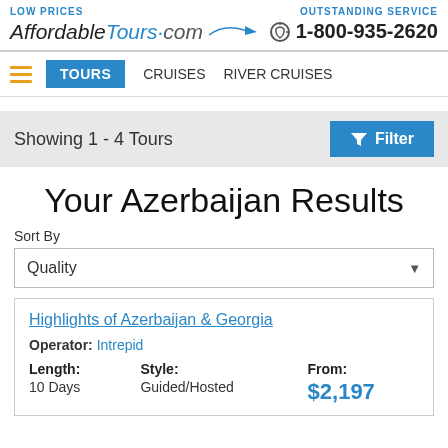LOW PRICES | AffordableTours.com | OUTSTANDING SERVICE | 1-800-935-2620
TOURS  CRUISES  RIVER CRUISES
Showing 1 - 4 Tours
Your Azerbaijan Results
Sort By
Quality
Highlights of Azerbaijan & Georgia
Operator: Intrepid
| Length: | Style: | From: |
| --- | --- | --- |
| 10 Days | Guided/Hosted | $2,197 |